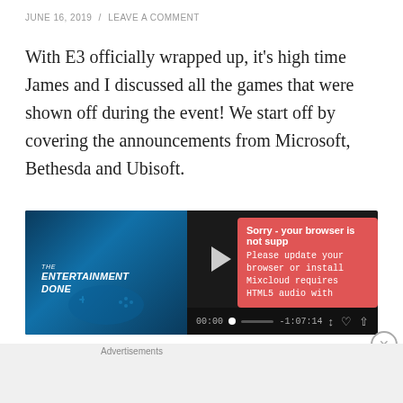JUNE 16, 2019 / LEAVE A COMMENT
With E3 officially wrapped up, it’s high time James and I discussed all the games that were shown off during the event! We start off by covering the announcements from Microsoft, Bethesda and Ubisoft.
[Figure (screenshot): Mixcloud audio player showing The Entertainment Done podcast episode with error message: 'Sorry - your browser is not supp...' and 'Please update your browser or install...' and 'Mixcloud requires HTML5 audio with'. Player shows timestamp 00:00 and -1:07:14.]
Advertisements
[Figure (screenshot): DuckDuckGo advertisement banner: 'Search, browse, and email with more privacy. All in One Free App' with DuckDuckGo logo on orange background.]